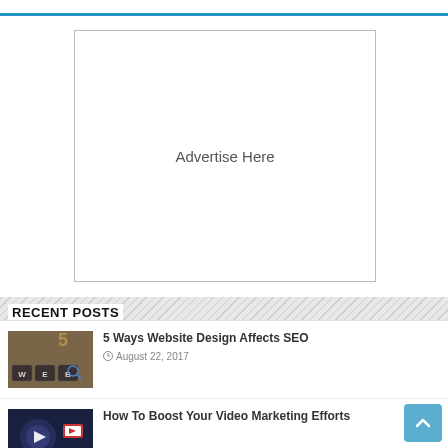[Figure (other): Advertisement placeholder box with text 'Advertise Here']
RECENT POSTS
[Figure (photo): Thumbnail photo of keyboard keys W, E, B with SEO-related imagery]
5 Ways Website Design Affects SEO
August 22, 2017
[Figure (photo): Thumbnail photo with dark blue/purple background for video marketing article]
How To Boost Your Video Marketing Efforts